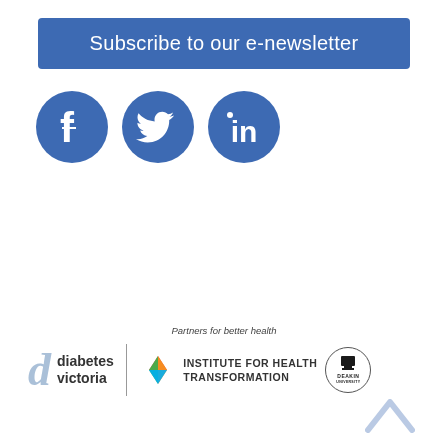Subscribe to our e-newsletter
[Figure (logo): Social media icons: Facebook, Twitter, LinkedIn — circular blue icons]
[Figure (logo): Partners logos: Diabetes Victoria, Institute for Health Transformation, Deakin University. Text above: Partners for better health]